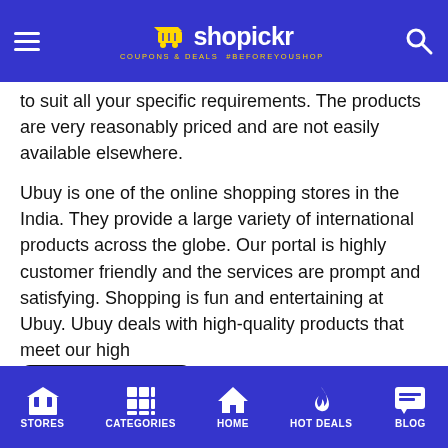shopickr — COUPONS & DEALS #BEFOREYOUSHOP
to suit all your specific requirements. The products are very reasonably priced and are not easily available elsewhere.
Ubuy is one of the online shopping stores in the India. They provide a large variety of international products across the globe. Our portal is highly customer friendly and the services are prompt and satisfying. Shopping is fun and entertaining at Ubuy. Ubuy deals with high-quality products that meet our high [standards and provide] h extraordinary service to ensure [satisfaction.] opping offers and discounts from time to [time throughout the] ear. All festivals and special days are the [best time for] discounts and offers. Customers can [explore a wide v] ariety of deals and offers that are available on the portal. So go ahead and grab your golden opportunity to save some money and get the products you always wanted.
[Figure (screenshot): Amazon Deals of the DAY promotional image — black background with orange and white text]
The popular product categories on Ubuy include electronics, cell
STORES | CATEGORIES | HOME | HOT DEALS | BLOG